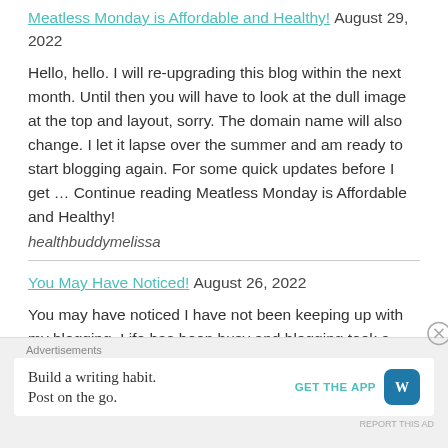Meatless Monday is Affordable and Healthy! August 29, 2022
Hello, hello. I will re-upgrading this blog within the next month. Until then you will have to look at the dull image at the top and layout, sorry. The domain name will also change. I let it lapse over the summer and am ready to start blogging again. For some quick updates before I get … Continue reading Meatless Monday is Affordable and Healthy!
healthbuddymelissa
You May Have Noticed! August 26, 2022
You may have noticed I have not been keeping up with my blogging. Life has been busy and blogging took a
[Figure (other): Advertisement banner: 'Build a writing habit. Post on the go.' with WordPress app GET THE APP button and WordPress logo icon]